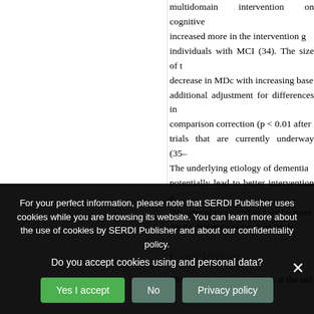multidomain intervention on cognitive increased more in the intervention g individuals with MCI (34). The size of t decrease in MDc with increasing base additional adjustment for differences in comparison correction (p < 0.01 after trials that are currently underway (35– The underlying etiology of dementia potentially lead to better intervention e this type of intervention may be more future dementia prevention trials.
Conclusion
This study with pooled data at the ind
For your perfect information, please note that SERDI Publisher uses cookies while you are browsing its website. You can learn more about the use of cookies by SERDI Publisher and about our confidentiality policy.
Do you accept cookies using and personal data?